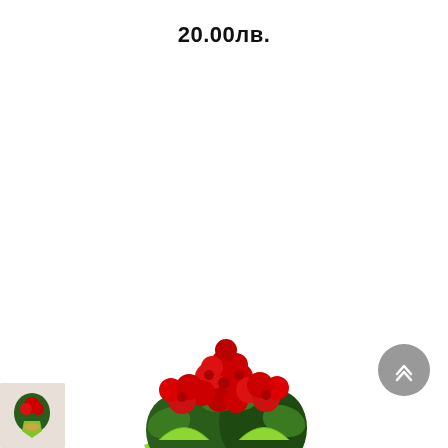20.00лв.
[Figure (photo): A potted red begonia plant wrapped in bright green paper and tied with a raffia bow, displayed on a white background.]